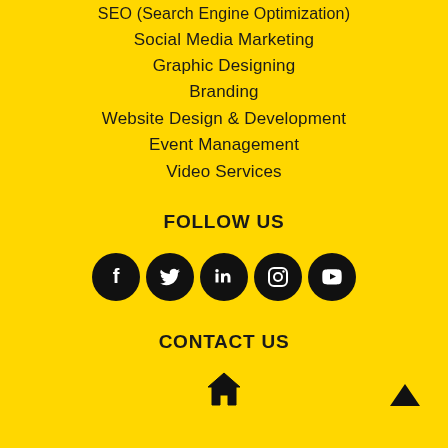SEO (Search Engine Optimization)
Social Media Marketing
Graphic Designing
Branding
Website Design & Development
Event Management
Video Services
FOLLOW US
[Figure (infographic): Five black circular social media icons: Facebook, Twitter, LinkedIn, Instagram, YouTube]
CONTACT US
[Figure (infographic): Home icon and upward arrow navigation icon on yellow background]